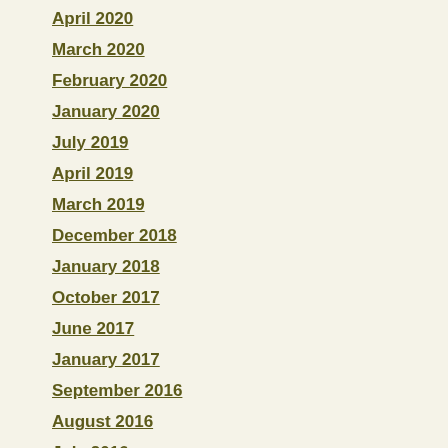April 2020
March 2020
February 2020
January 2020
July 2019
April 2019
March 2019
December 2018
January 2018
October 2017
June 2017
January 2017
September 2016
August 2016
July 2016
June 2016
May 2016
March 2016
December 2015